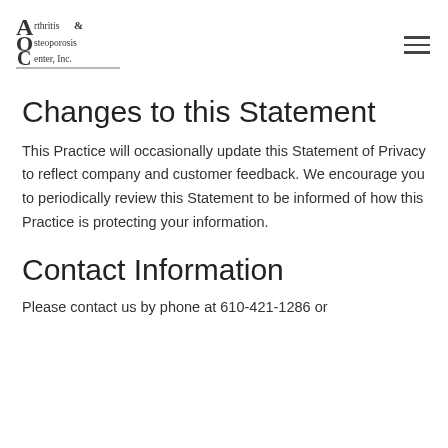Arthritis & Osteoporosis Center, Inc.
Changes to this Statement
This Practice will occasionally update this Statement of Privacy to reflect company and customer feedback. We encourage you to periodically review this Statement to be informed of how this Practice is protecting your information.
Contact Information
Please contact us by phone at 610-421-1286 or